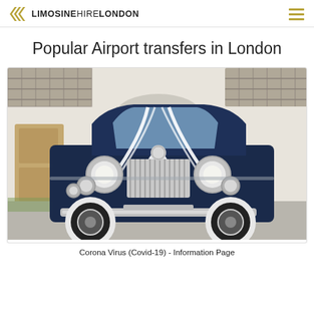LIMOSINE HIRE LONDON
Popular Airport transfers in London
[Figure (photo): A classic vintage Rolls-Royce in dark navy blue, decorated with white ribbons, parked in front of a building with tiled roof. Front view showing chrome grill, round headlights, and white wall tires.]
Corona Virus (Covid-19) - Information Page